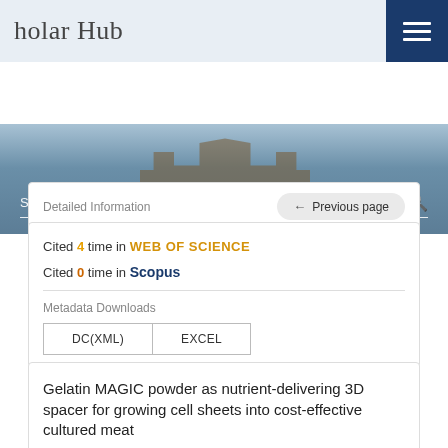Scholar Hub
[Figure (screenshot): University building / castle photograph used as hero background image with search bar overlay]
Search Scholar Hub
Detailed Information
← Previous page
Cited 4 time in WEB OF SCIENCE
Cited 0 time in Scopus
Metadata Downloads
DC(XML)    EXCEL
Gelatin MAGIC powder as nutrient-delivering 3D spacer for growing cell sheets into cost-effective cultured meat